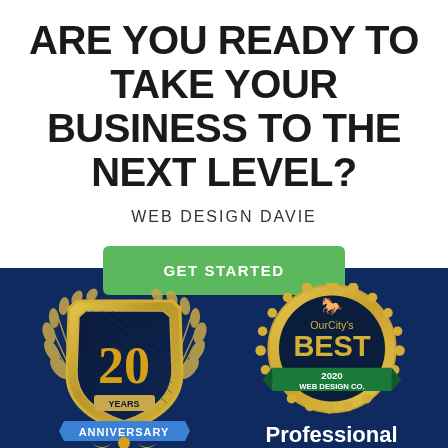ARE YOU READY TO TAKE YOUR BUSINESS TO THE NEXT LEVEL?
WEB DESIGN DAVIE
GET STARTED
[Figure (illustration): 20 Years Anniversary gold shield badge with laurel wreath on dark blue background]
[Figure (illustration): OurCity's BEST 2020 WEB DESIGN CO. gold medallion badge]
Professional